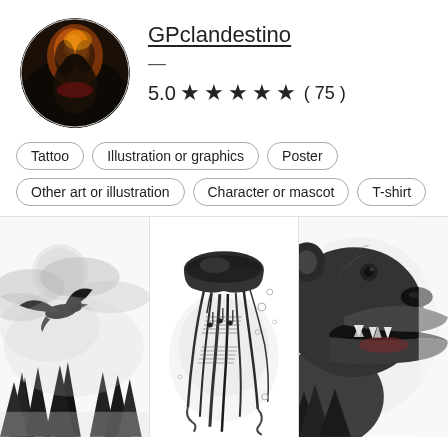[Figure (photo): Circular avatar of artist GPclandestino showing a dark figure with orange/fire-like hair or lighting against a dark background]
GPclandestino
— (dash separator)
5.0 ★★★★★ ( 75 )
Tattoo
Illustration or graphics
Poster
Other art or illustration
Character or mascot
T-shirt
[Figure (illustration): Black and white illustration of a raven/crow flying with pine trees and a moon in background — tattoo style artwork]
[Figure (illustration): Black and white illustration of a jellyfish with musical notes on its tentacles — tattoo style artwork]
[Figure (illustration): Black and white illustration of a roaring bear with pine trees — tattoo style artwork, partially cropped]